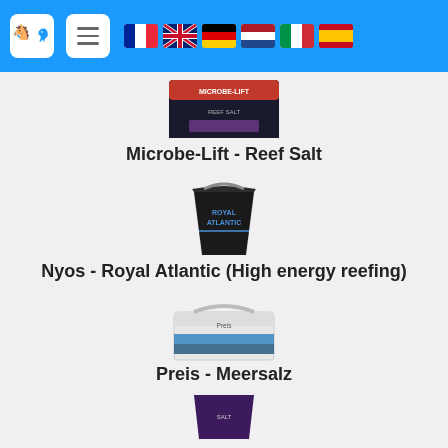Navigation header with seahorse logo, hamburger menu, and country flags (France, UK, Germany, Netherlands, Italy, Spain)
[Figure (photo): Microbe-Lift Reef Salt product package]
Microbe-Lift - Reef Salt
[Figure (photo): Nyos Royal Atlantic black bucket product]
Nyos - Royal Atlantic (High energy reefing)
[Figure (photo): Preis Meersalz white bucket product]
Preis - Meersalz
[Figure (photo): Dark/purple container product partially visible at bottom]